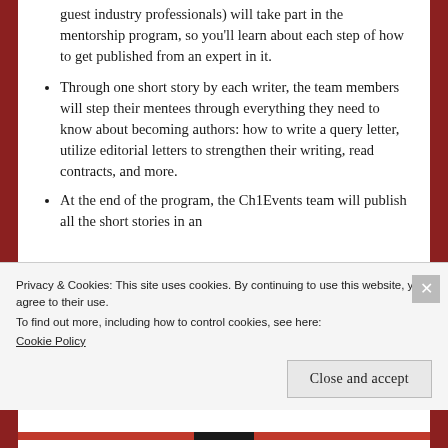guest industry professionals) will take part in the mentorship program, so you'll learn about each step of how to get published from an expert in it.
Through one short story by each writer, the team members will step their mentees through everything they need to know about becoming authors: how to write a query letter, utilize editorial letters to strengthen their writing, read contracts, and more.
At the end of the program, the Ch1Events team will publish all the short stories in an
Privacy & Cookies: This site uses cookies. By continuing to use this website, you agree to their use.
To find out more, including how to control cookies, see here: Cookie Policy
Close and accept